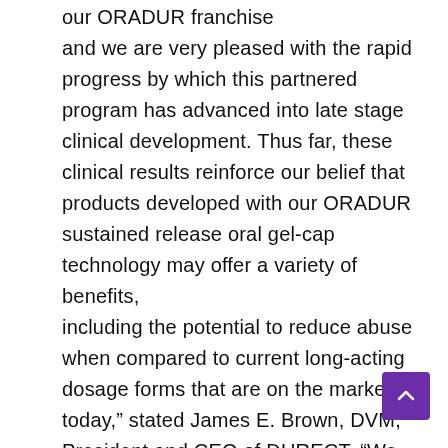our ORADUR franchise and we are very pleased with the rapid progress by which this partnered program has advanced into late stage clinical development. Thus far, these clinical results reinforce our belief that products developed with our ORADUR sustained release oral gel-cap technology may offer a variety of benefits, including the potential to reduce abuse when compared to current long-acting dosage forms that are on the market today," stated James E. Brown, DVM, President and CEO of DURECT. “We continue working to expanding our